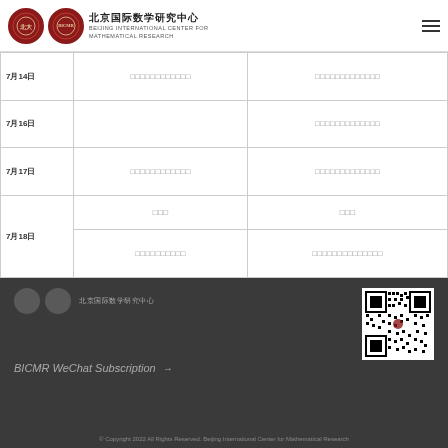北京国际数学研究中心 BEIJING INTERNATIONAL CENTER FOR MATHEMATICAL RESEARCH
| 日期 | 上午 | 下午 |
| --- | --- | --- |
| 7月14日 | □□□□□□□□□□□□ | □□□□□□□□□□□□□ |
| 7月16日 |  | □□□□□□□□□□□□□ |
| 7月17日 | □□□□□□□□□□□□ | □□□□□□□□□□□□□ |
|  | □□□ | □□□ | 7月18日 | □□□□□□□□□□ | □□□□□□□□□□□□□□ |
BICMR WeChat Subscription © Copyright 2022 All Rights Reserved. Beijing International Center for Mathematical Research